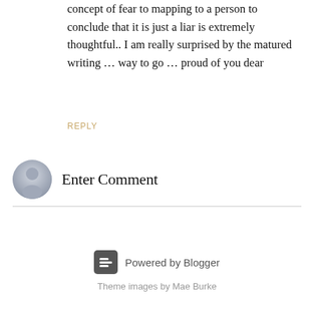concept of fear to mapping to a person to conclude that it is just a liar is extremely thoughtful.. I am really surprised by the matured writing … way to go … proud of you dear
REPLY
Enter Comment
[Figure (illustration): Generic user avatar icon — grey circle with silhouette of a person]
Powered by Blogger
Theme images by Mae Burke